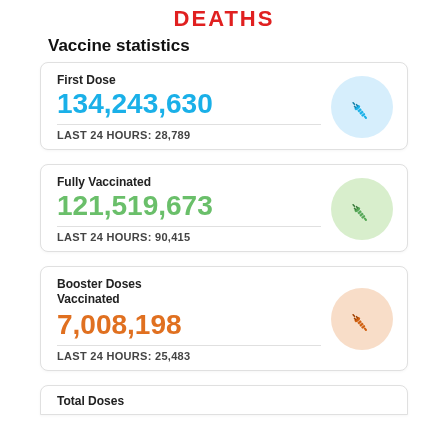DEATHS
Vaccine statistics
[Figure (infographic): First Dose vaccine statistic card with syringe icon on blue circle background. Number: 134,243,630. Last 24 hours: 28,789.]
[Figure (infographic): Fully Vaccinated vaccine statistic card with syringe icon on green circle background. Number: 121,519,673. Last 24 hours: 90,415.]
[Figure (infographic): Booster Doses Vaccinated vaccine statistic card with syringe icon on orange circle background. Number: 7,008,198. Last 24 hours: 25,483.]
Total Doses